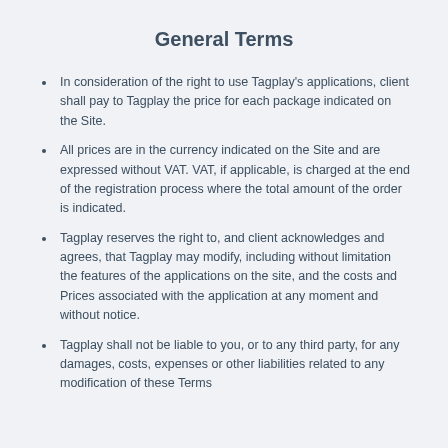General Terms
In consideration of the right to use Tagplay's applications, client shall pay to Tagplay the price for each package indicated on the Site.
All prices are in the currency indicated on the Site and are expressed without VAT. VAT, if applicable, is charged at the end of the registration process where the total amount of the order is indicated.
Tagplay reserves the right to, and client acknowledges and agrees, that Tagplay may modify, including without limitation the features of the applications on the site, and the costs and Prices associated with the application at any moment and without notice.
Tagplay shall not be liable to you, or to any third party, for any damages, costs, expenses or other liabilities related to any modification of these Terms